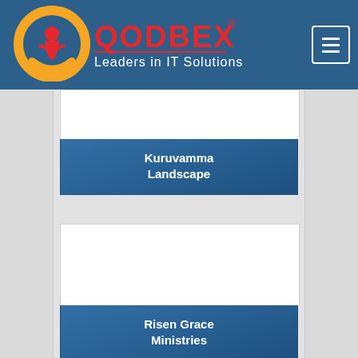[Figure (logo): QODBEX logo with orange Q and red QODBEX text, subtitle 'Leaders in IT Solutions', on blue header background]
Kuruvamma Landscape
[Figure (photo): White image area for Kuruvamma Landscape card]
Risen Grace Ministries
[Figure (photo): White image area for Risen Grace Ministries card]
[Figure (photo): Partial card at bottom of page]